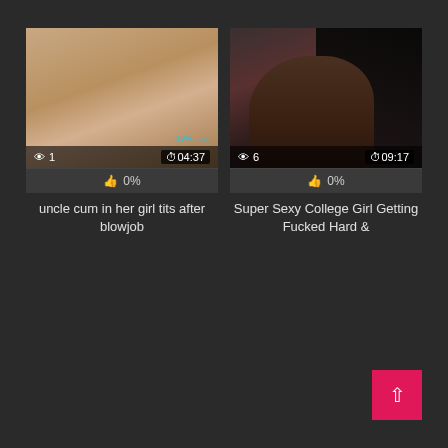[Figure (screenshot): Video thumbnail showing blurred skin-toned content, with overlay showing 1 view and duration 04:37, watermark text visible]
👍 0%
uncle cum in her girl tits after blowjob
[Figure (screenshot): Video thumbnail showing dark image of a person with dark hair, with overlay showing 6 views and duration 09:17]
👍 0%
Super Sexy College Girl Getting Fucked Hard &